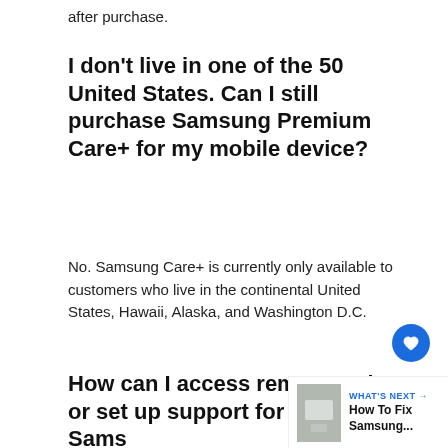after purchase.
I don't live in one of the 50 United States. Can I still purchase Samsung Premium Care+ for my mobile device?
No. Samsung Care+ is currently only available to customers who live in the continental United States, Hawaii, Alaska, and Washington D.C.
How can I access remote tech or set up support for my Samsung device?
[Figure (other): WHAT'S NEXT thumbnail with text: How To Fix Samsung...]